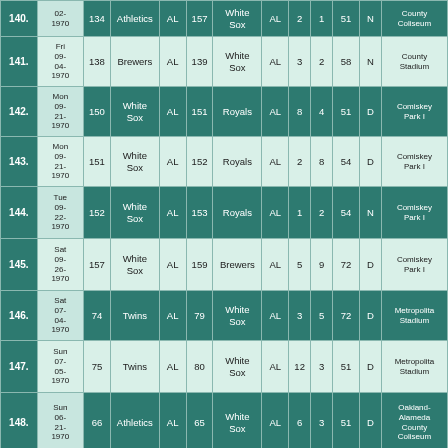| # | Date | # | Team | LG | # | Team | LG | R | R | Att | D/N | Venue |
| --- | --- | --- | --- | --- | --- | --- | --- | --- | --- | --- | --- | --- |
| 140. | 02-1970 | 134 | Athletics | AL | 157 | White Sox | AL | 2 | 1 | 51 | N | Oakland-Alameda County Coliseum |
| 141. | Fri 09-04-1970 | 138 | Brewers | AL | 139 | White Sox | AL | 3 | 2 | 58 | N | County Stadium |
| 142. | Mon 09-21-1970 | 150 | White Sox | AL | 151 | Royals | AL | 8 | 4 | 51 | D | Comiskey Park I |
| 143. | Mon 09-21-1970 | 151 | White Sox | AL | 152 | Royals | AL | 2 | 8 | 54 | D | Comiskey Park I |
| 144. | Tue 09-22-1970 | 152 | White Sox | AL | 153 | Royals | AL | 1 | 2 | 54 | N | Comiskey Park I |
| 145. | Sat 09-26-1970 | 157 | White Sox | AL | 159 | Brewers | AL | 5 | 9 | 72 | D | Comiskey Park I |
| 146. | Sat 07-04-1970 | 74 | Twins | AL | 79 | White Sox | AL | 3 | 5 | 72 | D | Metropolitan Stadium |
| 147. | Sun 07-05-1970 | 75 | Twins | AL | 80 | White Sox | AL | 12 | 3 | 51 | D | Metropolitan Stadium |
| 148. | Sun 06-21-1970 | 66 | Athletics | AL | 65 | White Sox | AL | 6 | 3 | 51 | D | Oakland-Alameda County Coliseum |
| 149. | Thu ... |  |  |  |  |  |  |  |  |  |  |  |